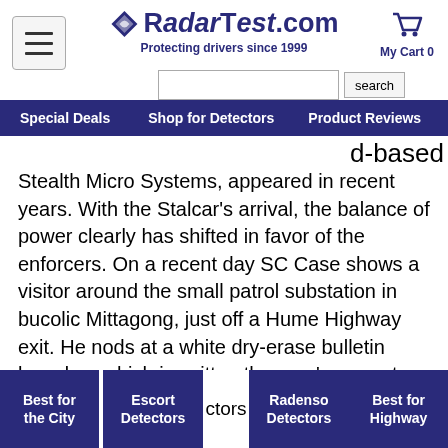RadarTest.com — Protecting drivers since 1999 | My Cart 0
...dar d-based Stealth Micro Systems, appeared in recent years. With the Stalcar's arrival, the balance of power clearly has shifted in favor of the enforcers. On a recent day SC Case shows a visitor around the small patrol substation in bucolic Mittagong, just off a Hume Highway exit. He nods at a white dry-erase bulletin board on which is written the year's current tally of confiscated radar detectors: 73. "With the VG-2 (the Canadian-built radar detector detector) we picked up 172 radar detectors in two years," he says. "With the Stalcar we've written 72 citations for detectors in four months."
He offers as proof a large cardboard shipping box bulging with ...ctors U.S...d seve...moc...als b...
Best for the City | Escort Detectors | Radenso Detectors | Best for Highway